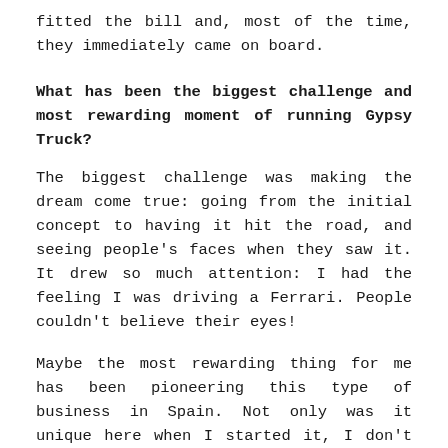fitted the bill and, most of the time, they immediately came on board.
What has been the biggest challenge and most rewarding moment of running Gypsy Truck?
The biggest challenge was making the dream come true: going from the initial concept to having it hit the road, and seeing people's faces when they saw it. It drew so much attention: I had the feeling I was driving a Ferrari. People couldn't believe their eyes!
Maybe the most rewarding thing for me has been pioneering this type of business in Spain. Not only was it unique here when I started it, I don't think that there were many others like it in Europe, either.